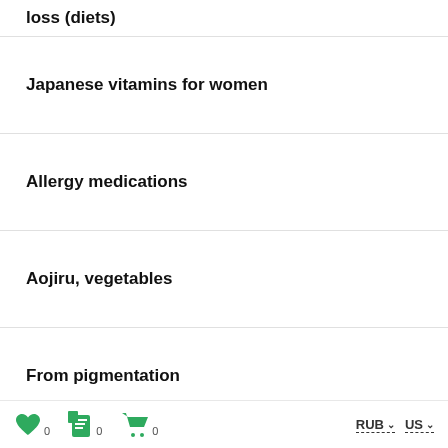loss (diets)
Japanese vitamins for women
Allergy medications
Aojiru, vegetables
From pigmentation
Japanese vitamins for hair
Prevention of oncology
0  0  0  RUB  US